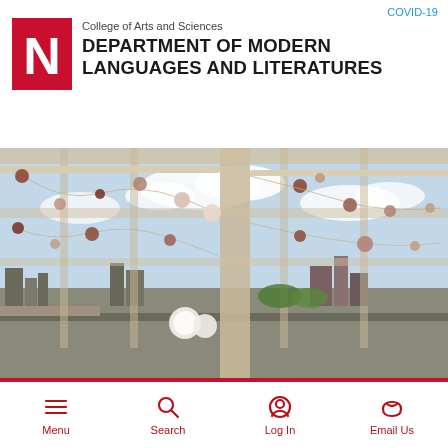COVID-19
[Figure (logo): University of Nebraska red N logo block]
College of Arts and Sciences
DEPARTMENT OF MODERN LANGUAGES AND LITERATURES
[Figure (photo): Interior photo of a building with large windows, natural light, city skyline visible outside, and decorative pom-pom garlands hanging from the ceiling structure]
Menu  Search  Log In  Email Us